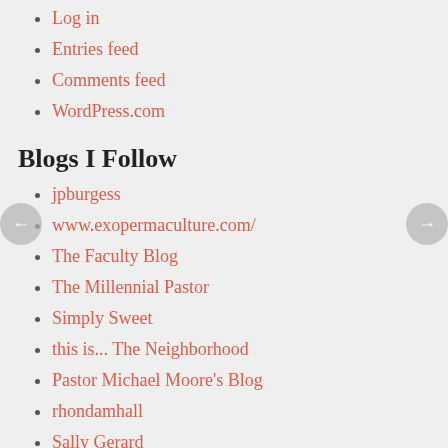Log in
Entries feed
Comments feed
WordPress.com
Blogs I Follow
jpburgess
www.exopermaculture.com/
The Faculty Blog
The Millennial Pastor
Simply Sweet
this is... The Neighborhood
Pastor Michael Moore's Blog
rhondamhall
Sally Gerard